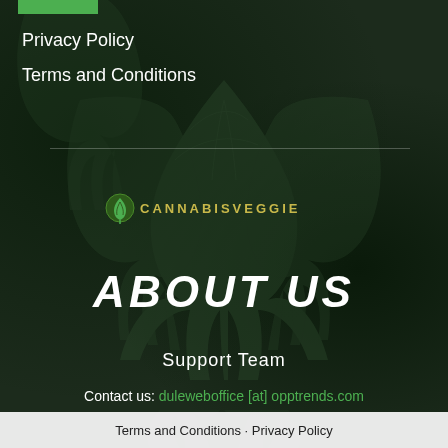[Figure (illustration): Dark green cannabis leaf background covering the full page]
Privacy Policy
Terms and Conditions
[Figure (logo): Cannabisveggie or similar cannabis brand logo with leaf icon and stylized text]
ABOUT US
Support Team
Contact us: duleweboffice [at] opptrends.com
Terms and Conditions - Privacy Policy